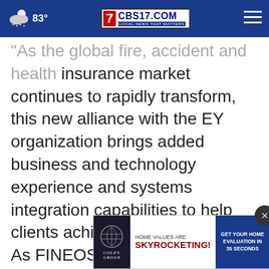83° CBS17.COM LOCAL NEWS THAT MATTERS
As the global fire, accident and health insurance market continues to rapidly transform, this new alliance with the EY organization brings added business and technology experience and systems integration capabilities to help clients achieve their objectives. As FINEOS continues to proactively invest in new product and growth plans, we want to ensure that our clients have access to the market support and system integration know... transformation plans. With implementations in
[Figure (other): Advertisement banner: COLEY GROUP - HOME VALUES ARE SKYROCKETING! GET YOUR HOME EVALUATION IN 35 SECONDS]